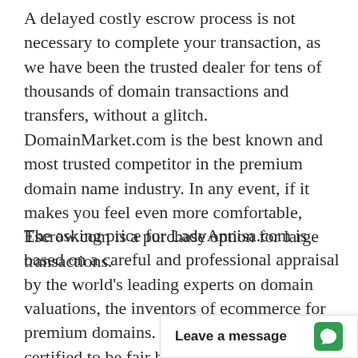A delayed costly escrow process is not necessary to complete your transaction, as we have been the trusted dealer for tens of thousands of domain transactions and transfers, without a glitch. DomainMarket.com is the best known and most trusted competitor in the premium domain name industry. In any event, if it makes you feel even more comfortable, Escrow.com is a purchase option for large transactions.
The asking price for LadyAnnisa.com is based on a careful and professional appraisal by the world's leading experts on domain valuations, the inventors of ecommerce for premium domains. The price is explicitly certified to be fair by real experts, so the buyer can be confiden and investment oppo